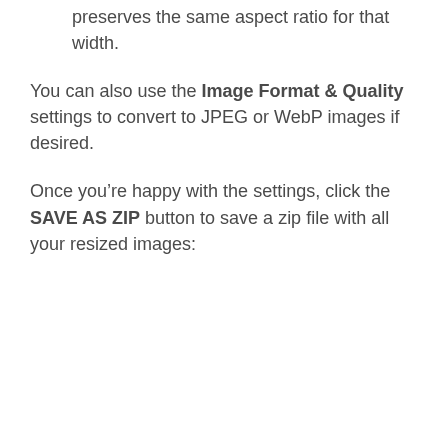preserves the same aspect ratio for that width.
You can also use the Image Format & Quality settings to convert to JPEG or WebP images if desired.
Once you're happy with the settings, click the SAVE AS ZIP button to save a zip file with all your resized images: